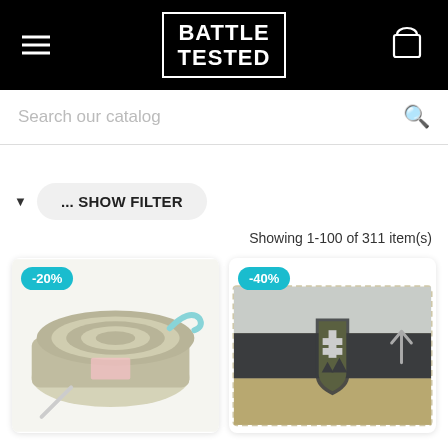[Figure (logo): Battle Tested logo on black header with hamburger menu and shopping cart icon]
Search our catalog
... SHOW FILTER
Showing 1-100 of 311 item(s)
[Figure (photo): Product card with -20% badge showing a rolled bandage/medical wrap product]
[Figure (photo): Product card with -40% badge showing a Slovak flag tactical patch]